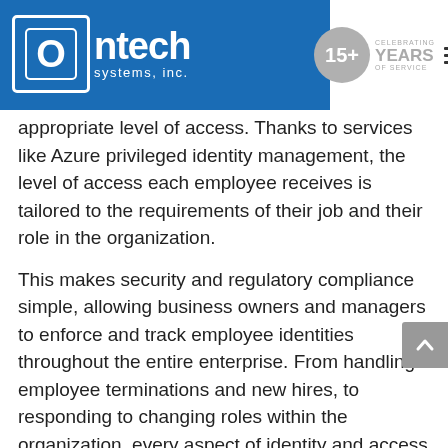Ontech systems, inc. — 15+ Celebrating Years of Service
appropriate level of access. Thanks to services like Azure privileged identity management, the level of access each employee receives is tailored to the requirements of their job and their role in the organization.
This makes security and regulatory compliance simple, allowing business owners and managers to enforce and track employee identities throughout the entire enterprise. From handling employee terminations and new hires, to responding to changing roles within the organization, every aspect of identity and access management is simplified thanks to the cloud.
How Contributing M...